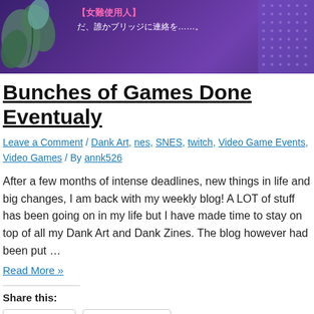[Figure (illustration): Banner image with purple/indigo background, plant leaves on left, Japanese text overlay, and dotted pattern on right]
Bunches of Games Done Eventualy
Leave a Comment / Dank Art, nes, SNES, twitch, Video Game Events, Video Games / By annk526
After a few months of intense deadlines, new things in life and big changes, I am back with my weekly blog! A LOT of stuff has been going on in my life but I have made time to stay on top of all my Dank Art and Dank Zines. The blog however had been put …
Read More »
Share this:
Twitter  Facebook